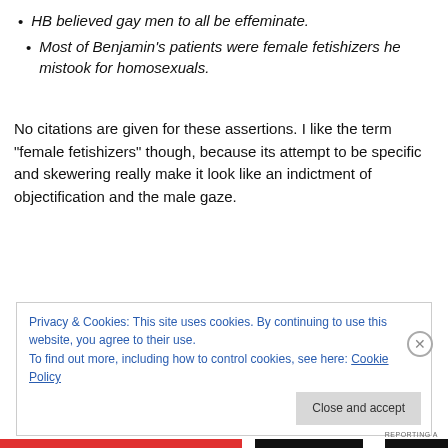HB believed gay men to all be effeminate.
Most of Benjamin’s patients were female fetishizers he mistook for homosexuals.
No citations are given for these assertions. I like the term “female fetishizers” though, because its attempt to be specific and skewering really make it look like an indictment of objectification and the male gaze.
Privacy & Cookies: This site uses cookies. By continuing to use this website, you agree to their use.
To find out more, including how to control cookies, see here: Cookie Policy